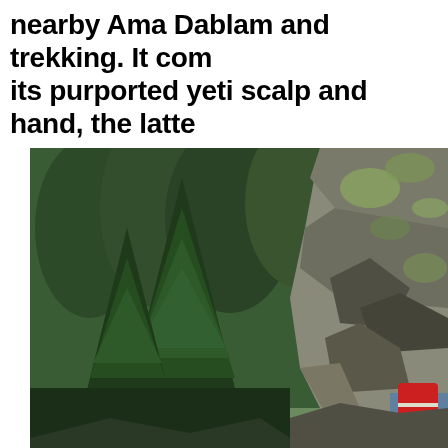nearby Ama Dablam and trekking. It com its purported yeti scalp and hand, the latte
[Figure (photo): Outdoor mountain trekking scene showing dense green conifer forest on the left and a steep rocky cliff face covered with lichen and moss on the right. A trekker with a red backpack and striped gear is partially visible at the bottom right corner. The setting appears to be in a high-altitude Himalayan environment.]